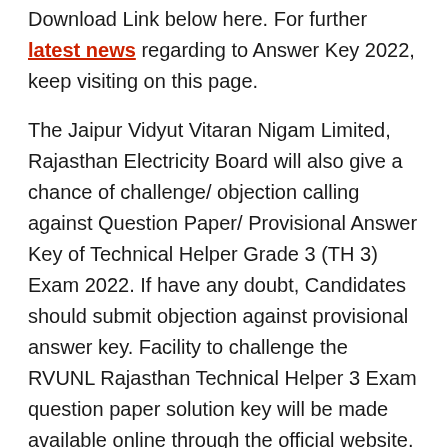Download Link below here. For further latest news regarding to Answer Key 2022, keep visiting on this page.
The Jaipur Vidyut Vitaran Nigam Limited, Rajasthan Electricity Board will also give a chance of challenge/ objection calling against Question Paper/ Provisional Answer Key of Technical Helper Grade 3 (TH 3) Exam 2022. If have any doubt, Candidates should submit objection against provisional answer key. Facility to challenge the RVUNL Rajasthan Technical Helper 3 Exam question paper solution key will be made available online through the official website.
JVVNL Technical Helper 3 Exam Answer Key 2022